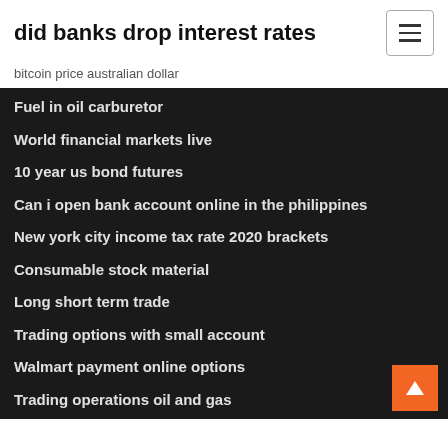did banks drop interest rates
bitcoin price australian dollar
Fuel in oil carburetor
World financial markets live
10 year us bond futures
Can i open bank account online in the philippines
New york city income tax rate 2020 brackets
Consumable stock material
Long short term trade
Trading options with small account
Walmart payment online options
Trading operations oil and gas